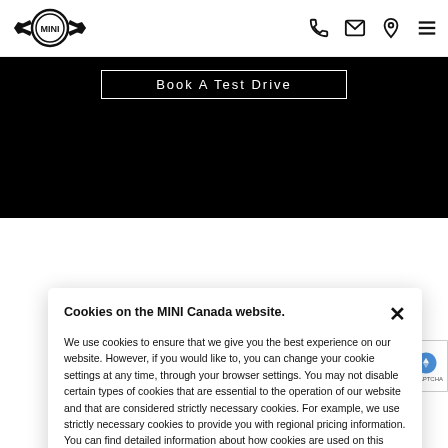MINI logo and navigation icons (phone, email, location, menu)
[Figure (screenshot): Black banner section with 'Book A Test Drive' button in white border]
Book A Test Drive
About Us >
Buil... >
Con... >
BMW... >
Uns... >
Coo... >
Priv... >
Cookies on the MINI Canada website.
We use cookies to ensure that we give you the best experience on our website. However, if you would like to, you can change your cookie settings at any time, through your browser settings. You may not disable certain types of cookies that are essential to the operation of our website and that are considered strictly necessary cookies. For example, we use strictly necessary cookies to provide you with regional pricing information. You can find detailed information about how cookies are used on this website by clicking here.